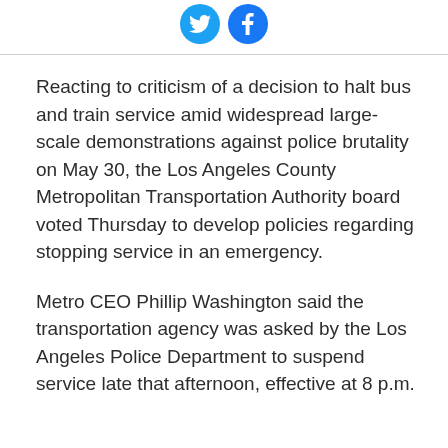[Figure (other): Twitter and Facebook social sharing icons (circular blue buttons)]
Reacting to criticism of a decision to halt bus and train service amid widespread large-scale demonstrations against police brutality on May 30, the Los Angeles County Metropolitan Transportation Authority board voted Thursday to develop policies regarding stopping service in an emergency.
Metro CEO Phillip Washington said the transportation agency was asked by the Los Angeles Police Department to suspend service late that afternoon, effective at 8 p.m.